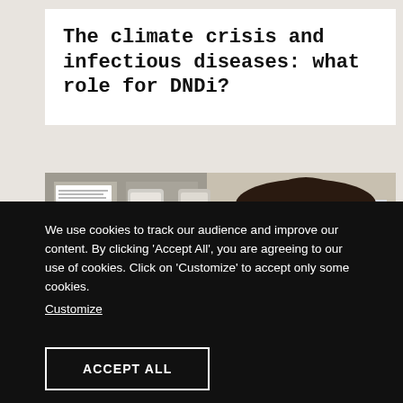The climate crisis and infectious diseases: what role for DNDi?
[Figure (photo): A woman with dark hair and glasses, wearing blue scrubs and white gloves, working in a medical laboratory environment. Shelves with medical supplies and dispensers are visible in the background.]
We use cookies to track our audience and improve our content. By clicking 'Accept All', you are agreeing to our use of cookies. Click on 'Customize' to accept only some cookies. Customize
ACCEPT ALL